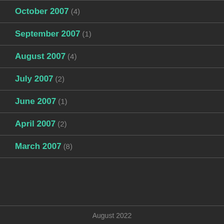October 2007 (4)
September 2007 (1)
August 2007 (4)
July 2007 (2)
June 2007 (1)
April 2007 (2)
March 2007 (8)
August 2022